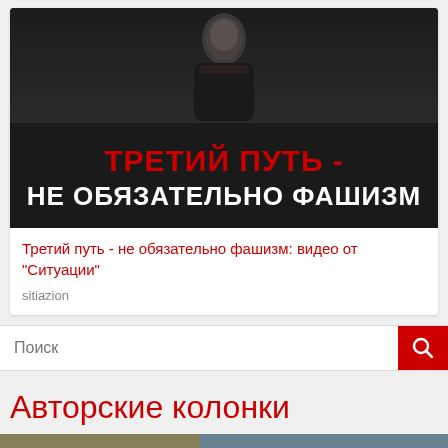[Figure (screenshot): Dark background image with a person in a black shirt at the top, and bold text overlay: 'ТРЕТИЙ ПУТЬ -' in red and 'НЕ ОБЯЗАТЕЛЬНО ФАШИЗМ' in white]
Третий путь - не обязательно фашизм: видео от "Ситуации"
sitiazion
Поиск
Авторские колонки
[Figure (photo): Partial view of a painting or artwork at the bottom of the page with warm earthy and blue tones]